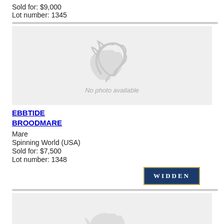Sold for: $9,000
Lot number: 1345
[Figure (illustration): Placeholder horse silhouette with text 'No photo available']
EBBTIDE BROODMARE
Mare
Spinning World (USA)
Sold for: $7,500
Lot number: 1348
[Figure (logo): Widden stud logo in dark blue with gold border]
[Figure (illustration): Placeholder horse silhouette with text 'No photo available']
FAITH HILL